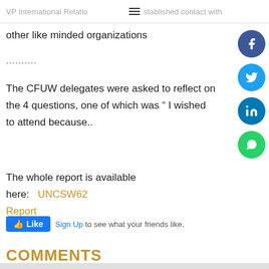VP International Relations established contact with other like minded organizations
..........
The CFUW delegates were asked to reflect on the 4 questions, one of which was “ I wished to attend because..
The whole report is available here:   UNCSW62 Report
[Figure (screenshot): Facebook Like widget with Sign Up link and text 'to see what your friends like.']
COMMENTS
[Figure (infographic): Social share sidebar with Facebook, Twitter, LinkedIn, and WhatsApp buttons]